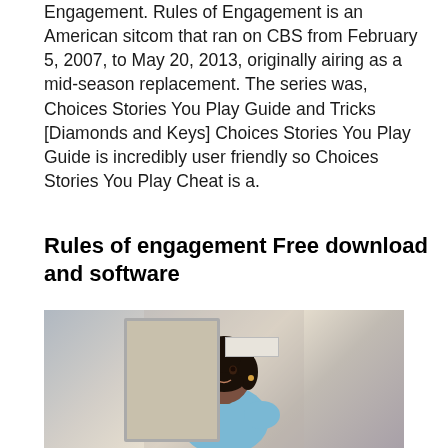Engagement. Rules of Engagement is an American sitcom that ran on CBS from February 5, 2007, to May 20, 2013, originally airing as a mid-season replacement. The series was, Choices Stories You Play Guide and Tricks [Diamonds and Keys] Choices Stories You Play Guide is incredibly user friendly so Choices Stories You Play Cheat is a.
Rules of engagement Free download and software
[Figure (illustration): Illustrated image of a woman with dark hair in a styled bob cut, wearing what appears to be a light blue top, standing in front of a door/room background. The image appears to be from a mobile game (Choices: Stories You Play).]